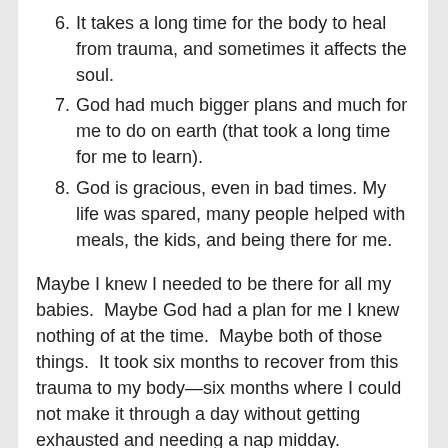6. It takes a long time for the body to heal from trauma, and sometimes it affects the soul.
7. God had much bigger plans and much for me to do on earth (that took a long time for me to learn).
8. God is gracious, even in bad times. My life was spared, many people helped with meals, the kids, and being there for me.
Maybe I knew I needed to be there for all my babies.  Maybe God had a plan for me I knew nothing of at the time.  Maybe both of those things.  It took six months to recover from this trauma to my body—six months where I could not make it through a day without getting exhausted and needing a nap midday.